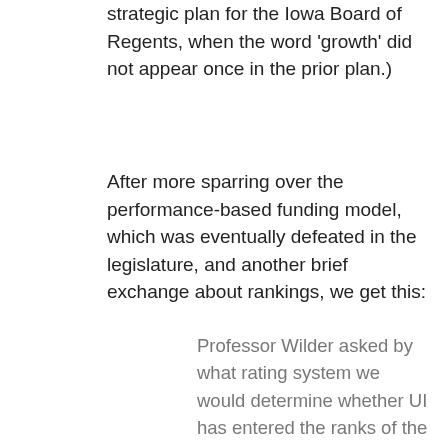strategic plan for the Iowa Board of Regents, when the word 'growth' did not appear once in the prior plan.)
After more sparring over the performance-based funding model, which was eventually defeated in the legislature, and another brief exchange about rankings, we get this:
Professor Wilder asked by what rating system we would determine whether UI has entered the ranks of the top ten public research universities. President Rastetter responded that most likely it would be one of the rating systems, such as U.S. News & World Report or Bloomberg, which is routinely presented to the Board. Professor Storrs reiterated that faculty are not opposed